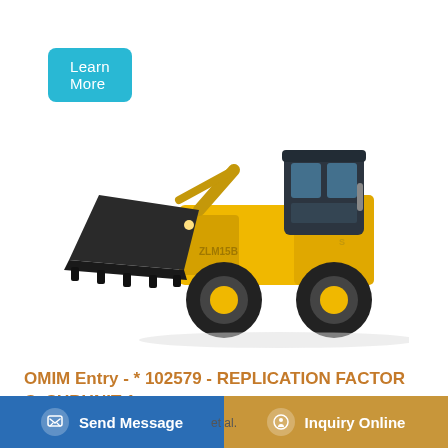[Figure (photo): Yellow front-end wheel loader (model ZLM15B) with black cab, large bucket attachment raised at front, four large tires, on white background.]
OMIM Entry - * 102579 - REPLICATION FACTOR C, SUBUNIT 1; ...
et al.